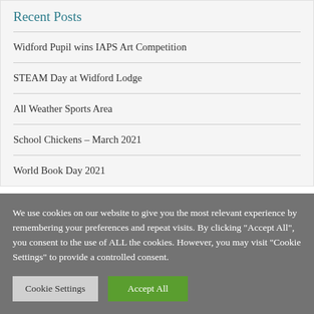Recent Posts
Widford Pupil wins IAPS Art Competition
STEAM Day at Widford Lodge
All Weather Sports Area
School Chickens – March 2021
World Book Day 2021
We use cookies on our website to give you the most relevant experience by remembering your preferences and repeat visits. By clicking "Accept All", you consent to the use of ALL the cookies. However, you may visit "Cookie Settings" to provide a controlled consent.
Cookie Settings | Accept All